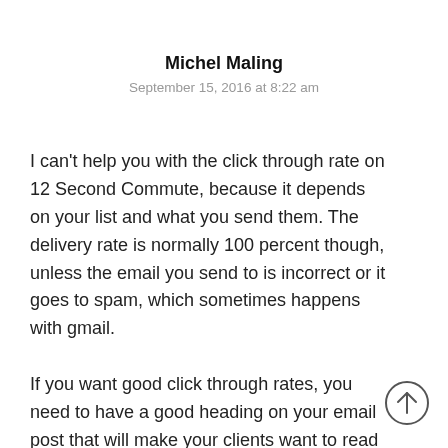Michel Maling
September 15, 2016 at 8:22 am
I can't help you with the click through rate on 12 Second Commute, because it depends on your list and what you send them. The delivery rate is normally 100 percent though, unless the email you send to is incorrect or it goes to spam, which sometimes happens with gmail.
If you want good click through rates, you need to have a good heading on your email post that will make your clients want to read what you tell them.
[Figure (other): Scroll to top arrow button (circle with upward arrow)]